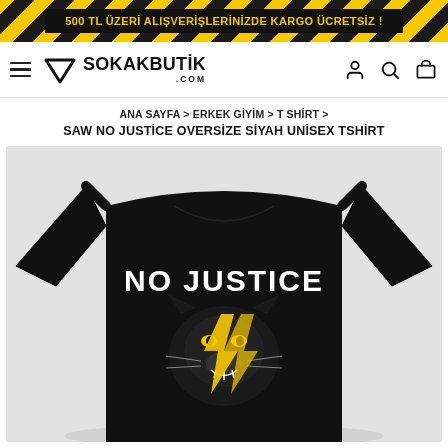500 TL ÜZERİ ALIŞVERİŞLERİNİZDE KARGO ÜCRETSİZ !
[Figure (logo): SOKAKBUTİK.COM logo with downward triangle icon and navigation icons (user, search, cart)]
ANA SAYFA > ERKEK GİYİM > T SHİRT >
SAW NO JUSTİCE OVERSİZE SİYAH UNİSEX TSHİRT
[Figure (photo): Black oversized unisex t-shirt photographed from behind, featuring 'NO JUSTICE' text and a panther head graphic with yellow lightning bolt design on the back.]